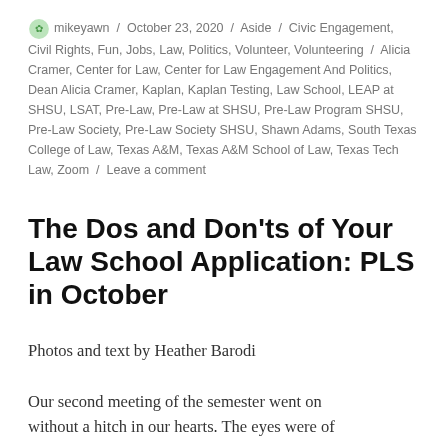mikeyawn / October 23, 2020 / Aside / Civic Engagement, Civil Rights, Fun, Jobs, Law, Politics, Volunteer, Volunteering / Alicia Cramer, Center for Law, Center for Law Engagement And Politics, Dean Alicia Cramer, Kaplan, Kaplan Testing, Law School, LEAP at SHSU, LSAT, Pre-Law, Pre-Law at SHSU, Pre-Law Program SHSU, Pre-Law Society, Pre-Law Society SHSU, Shawn Adams, South Texas College of Law, Texas A&M, Texas A&M School of Law, Texas Tech Law, Zoom / Leave a comment
The Dos and Don'ts of Your Law School Application: PLS in October
Photos and text by Heather Barodi
Our second meeting of the semester went on without a hitch in our hearts. The eyes were of